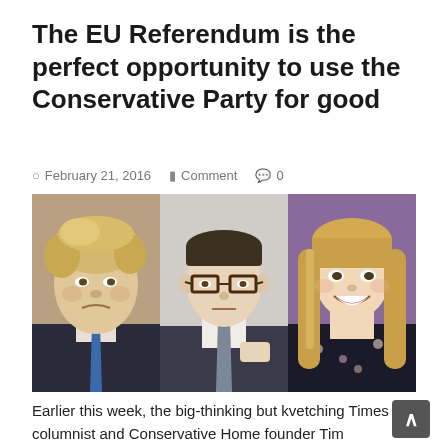The EU Referendum is the perfect opportunity to use the Conservative Party for good
February 21, 2016   Comment   0
[Figure (photo): Three photos side by side: Boris Johnson on the left, Michael Gove in the middle, and a blonde woman (Penny Mordaunt) on the right.]
Earlier this week, the big-thinking but kvetching Times columnist and Conservative Home founder Tim Montgomerie announced he was leaving the Conservative Party. He gave his reasons for leaving the